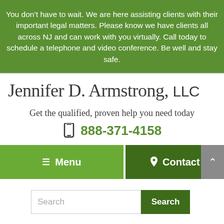You don’t have to wait. We are here assisting clients with their important legal matters. Please know we have clients all across NJ and can work with you virtually. Call today to schedule a telephone and video conference. Be well and stay safe.
Jennifer D. Armstrong, LLC
Get the qualified, proven help you need today
📱 888-371-4158
☰ Menu
📍 Contact
Search